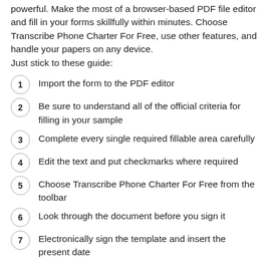powerful. Make the most of a browser-based PDF file editor and fill in your forms skillfully within minutes. Choose Transcribe Phone Charter For Free, use other features, and handle your papers on any device.
Just stick to these guide:
1. Import the form to the PDF editor
2. Be sure to understand all of the official criteria for filling in your sample
3. Complete every single required fillable area carefully
4. Edit the text and put checkmarks where required
5. Choose Transcribe Phone Charter For Free from the toolbar
6. Look through the document before you sign it
7. Electronically sign the template and insert the present date